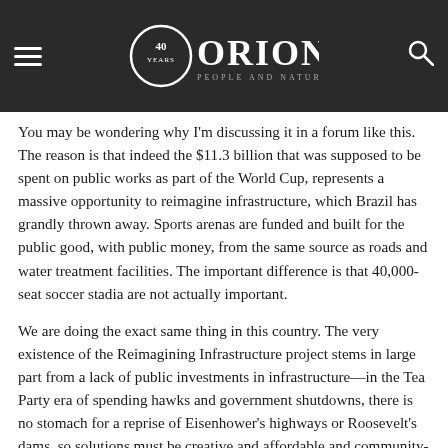Orion Magazine — 40 years — People and Nature (header bar with logo, hamburger menu, and search icon)
You may be wondering why I'm discussing it in a forum like this. The reason is that indeed the $11.3 billion that was supposed to be spent on public works as part of the World Cup, represents a massive opportunity to reimagine infrastructure, which Brazil has grandly thrown away. Sports arenas are funded and built for the public good, with public money, from the same source as roads and water treatment facilities. The important difference is that 40,000-seat soccer stadia are not actually important.
We are doing the exact same thing in this country. The very existence of the Reimagining Infrastructure project stems in large part from a lack of public investments in infrastructure—in the Tea Party era of spending hawks and government shutdowns, there is no stomach for a reprise of Eisenhower's highways or Roosevelt's dams, so solutions must be creative and affordable and community-based.
Except when it comes to football. There are thirty-one stadiums in the National Football League (the New York teams share one), and only two of them—two!—were even 75 percent privately funded. The rest were built by states and cities, and if you think